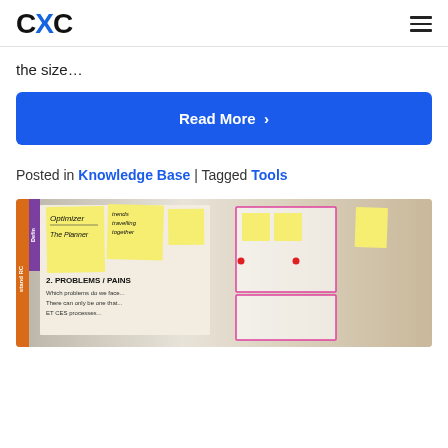CXC [logo] with hamburger menu
the size...
Read More >
Posted in Knowledge Base | Tagged Tools
[Figure (photo): Photo of a physical whiteboard or wall with sticky notes, handwritten text including 'Optimizer', 'The Planner', 'trends travelling together', '2. PROBLEMS / PAINS', 'Which problems do we face...', with orange and purple vertical strips on the left side and pink-bordered boxes on the right.]